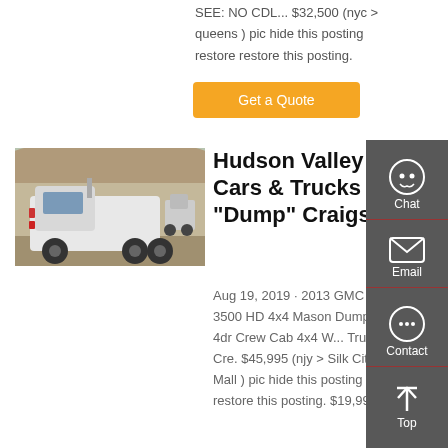SEE: NO CDL... $32,500 (nyc > queens ) pic hide this posting restore restore this posting.
[Figure (other): Orange 'Get a Quote' button]
[Figure (photo): Rear view of a white semi truck / dump truck in a yard with other trucks and rocky terrain in background]
Hudson Valley Cars & Trucks "Dump" Craigslist
Aug 19, 2019 · 2013 GMC Sierra 3500 HD 4x4 Mason Dump Truck 4dr Crew Cab 4x4 W... Truck 4dr Cre. $45,995 (njy > Silk City Auto Mall ) pic hide this posting restore restore this posting. $19,995